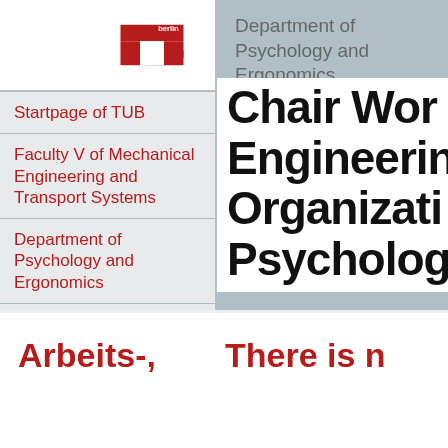[Figure (logo): TU Berlin red logo with 'tu berlin' text]
Startpage of TUB
Faculty V of Mechanical Engineering and Transport Systems
Department of Psychology and Ergonomics
Department of Psychology and Ergonomics
Kontakt
Deutsch
Chair Work Engineering Organization Psychology
Arbeits-,
There is n